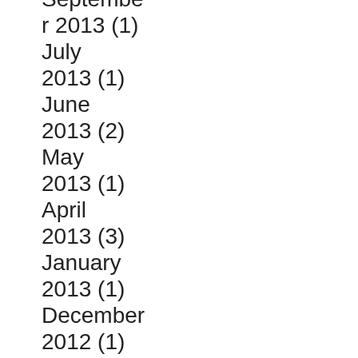September 2013 (1)
July 2013 (1)
June 2013 (2)
May 2013 (1)
April 2013 (3)
January 2013 (1)
December 2012 (1)
May 2012 (1)
April 2012 (1)